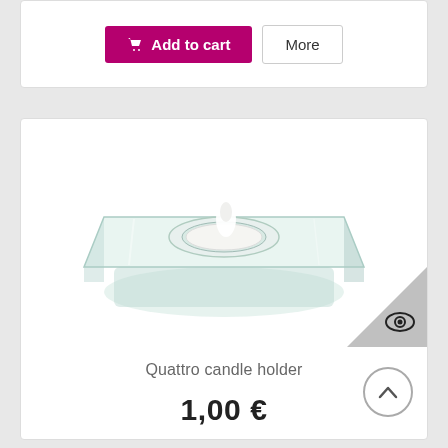[Figure (screenshot): E-commerce product page showing an 'Add to cart' button and 'More' button at the top, followed by a product listing for 'Quattro candle holder' with a glass candle holder photo, price 1,00 €, and a scroll-to-top button.]
Add to cart
More
[Figure (photo): Photo of a square glass tealight candle holder (Quattro) with a white candle inside, on a white background. An eye/preview icon is in the bottom-right corner.]
Quattro candle holder
1,00 €